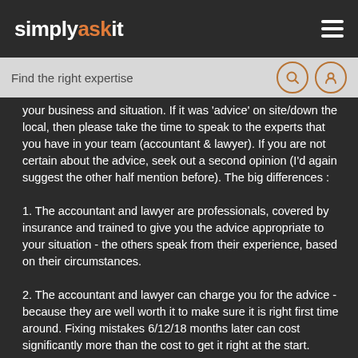simplyaskit
Find the right expertise
your business and situation. If it was 'advice' on site/down the local, then please take the time to speak to the experts that you have in your team (accountant & lawyer). If you are not certain about the advice, seek out a second opinion (I'd again suggest the other half mention before). The big differences :
1. The accountant and lawyer are professionals, covered by insurance and trained to give you the advice appropriate to your situation - the others speak from their experience, based on their circumstances.
2. The accountant and lawyer can charge you for the advice - because they are well worth it to make sure it is right first time around. Fixing mistakes 6/12/18 months later can cost significantly more than the cost to get it right at the start.